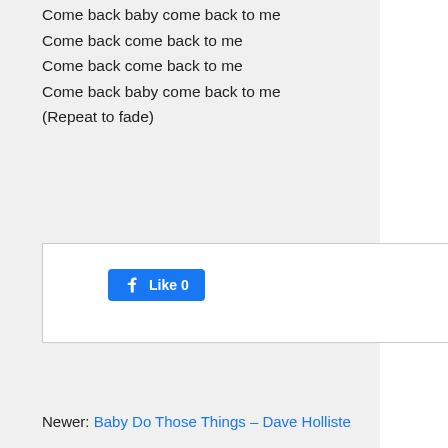Come back baby come back to me
Come back come back to me
Come back come back to me
Come back baby come back to me
(Repeat to fade)
[Figure (screenshot): Facebook Like button showing 'Like 0' and a partially visible Tweet link]
Newer: Baby Do Those Things – Dave Holliste…
141 responses to "Baby Come Back To Me (T…
Tyrianne says:
December 25, 2020 at 10:03 am

reveals that the game now has a total of 26 radi… playing in the Test Chambers, always in an area… the music playing), and with a red sprite added t… said to have been changed, "to comply with fede… in the update. In-game, the radio must each tim… When doing so, the music will be scrambled by… sounds will be heard, and the red sprite will turn… radios and jamming the transmission will unlock… its description is simply ", 3". The presence of th…